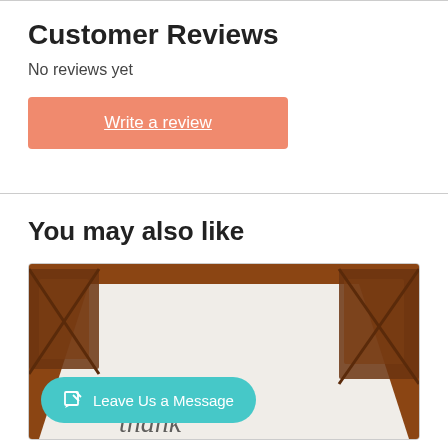Customer Reviews
No reviews yet
Write a review
You may also like
[Figure (photo): Two product images side by side. Left image shows a white paper/table runner on a wooden table with chairs visible, with a teal 'Leave Us a Message' button overlay. Right image shows a burlap/natural fabric material with an orange 'Chat with us' button overlay.]